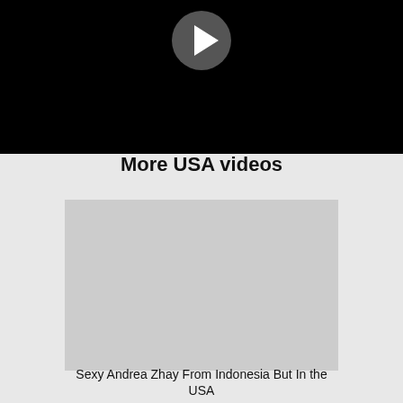[Figure (screenshot): Black video player with a play button icon at the top center]
More USA videos
[Figure (photo): Gray placeholder thumbnail image for a video]
Sexy Andrea Zhay From Indonesia But In the USA